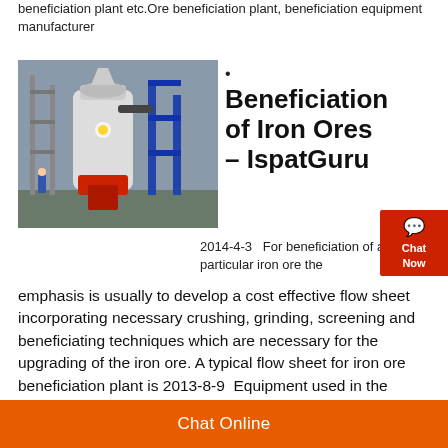beneficiation plant etc.Ore beneficiation plant, beneficiation equipment manufacturer
[Figure (photo): Industrial iron ore beneficiation plant with large cylindrical grinding equipment, red and white machinery, blue steel structure in background]
Beneficiation of Iron Ores – IspatGuru
2014-4-3   For beneficiation of a particular iron ore the emphasis is usually to develop a cost effective flow sheet incorporating necessary crushing, grinding, screening and beneficiating techniques which are necessary for the upgrading of the iron ore. A typical flow sheet for iron ore beneficiation plant is 2013-8-9  Equipment used in the whole plant are also with small capacity. As one of our Ghana customer, who has a
Chat Online